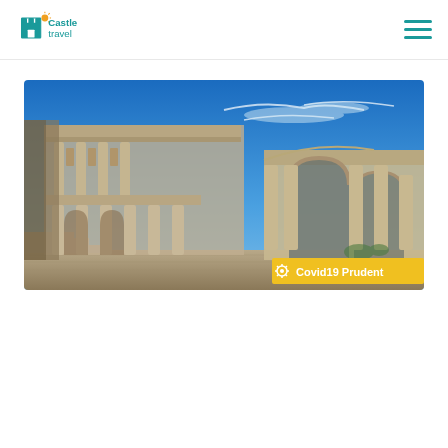Castle Travel
[Figure (photo): Ancient Roman ruins (Library of Celsus at Ephesus) with tall stone columns and arches under a blue sky with wispy clouds. A yellow badge in the bottom right reads 'Covid19 Prudent'.]